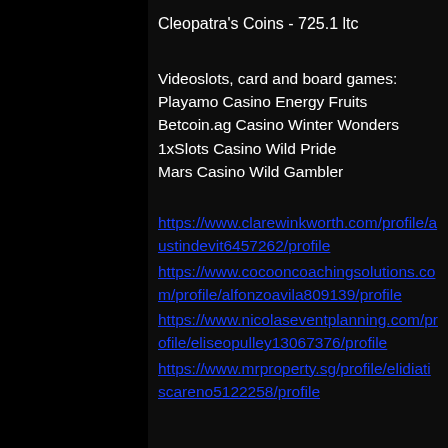Cleopatra's Coins - 725.1 ltc
Videoslots, card and board games:
Playamo Casino Energy Fruits
Betcoin.ag Casino Winter Wonders
1xSlots Casino Wild Pride
Mars Casino Wild Gambler
https://www.clarewinkworth.com/profile/austindevit6457262/profile
https://www.cocooncoachingsolutions.com/profile/alfonzoavila809139/profile
https://www.nicolaseventplanning.com/profile/eliseopulley13067376/profile
https://www.mrproperty.sg/profile/elidiatiscareno5122258/profile